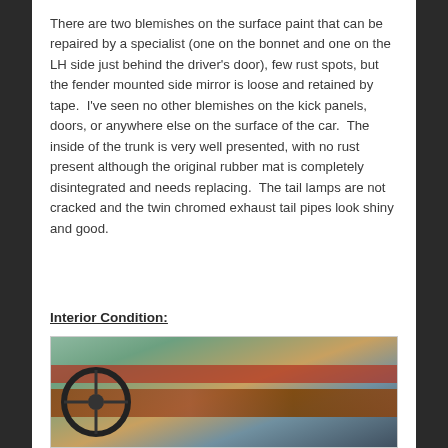There are two blemishes on the surface paint that can be repaired by a specialist (one on the bonnet and one on the LH side just behind the driver's door), few rust spots, but the fender mounted side mirror is loose and retained by tape.  I've seen no other blemishes on the kick panels, doors, or anywhere else on the surface of the car.  The inside of the trunk is very well presented, with no rust present although the original rubber mat is completely disintegrated and needs replacing.  The tail lamps are not cracked and the twin chromed exhaust tail pipes look shiny and good.
Interior Condition:
[Figure (photo): Interior photo of a classic car showing the dashboard, steering wheel, and wood trim. The dashboard has red accent stripe and wood paneling visible.]